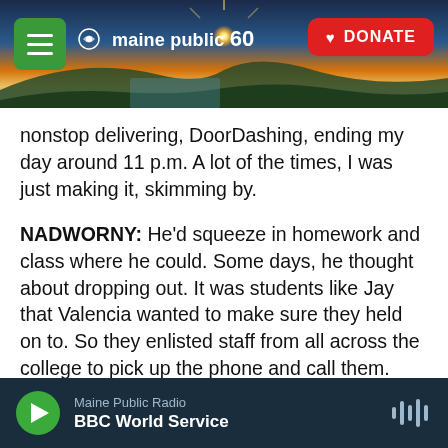[Figure (screenshot): Maine Public 60th anniversary website header with sunset/landscape background image, hamburger menu button (green), Maine Public 60 logo, and red DONATE button]
nonstop delivering, DoorDashing, ending my day around 11 p.m. A lot of the times, I was just making it, skimming by.
NADWORNY: He'd squeeze in homework and class where he could. Some days, he thought about dropping out. It was students like Jay that Valencia wanted to make sure they held on to. So they enlisted staff from all across the college to pick up the phone and call them.
BETTY BLACKBURN: I'm Betty Blackburn. I work for Valencia in the Testing Center.
Maine Public Radio | BBC World Service